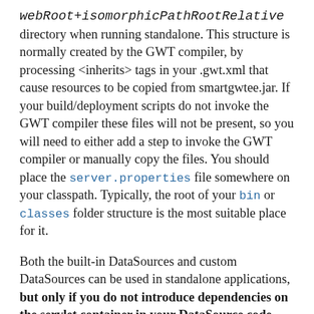webRoot+isomorphicPathRootRelative directory when running standalone. This structure is normally created by the GWT compiler, by processing <inherits> tags in your .gwt.xml that cause resources to be copied from smartgwtee.jar. If your build/deployment scripts do not invoke the GWT compiler these files will not be present, so you will need to either add a step to invoke the GWT compiler or manually copy the files. You should place the server.properties file somewhere on your classpath. Typically, the root of your bin or classes folder structure is the most suitable place for it.
Both the built-in DataSources and custom DataSources can be used in standalone applications, but only if you do not introduce dependencies on the servlet container in your DataSource code. For example, if you